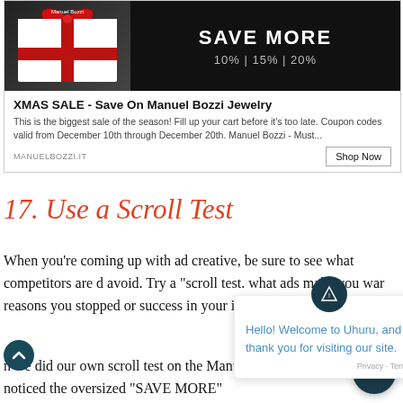[Figure (screenshot): Advertisement for XMAS SALE - Save On Manuel Bozzi Jewelry showing a gift box with red ribbon on black background with 'SAVE MORE 10% | 15% | 20%' text]
XMAS SALE - Save On Manuel Bozzi Jewelry
This is the biggest sale of the season! Fill up your cart before it's too late. Coupon codes valid from December 10th through December 20th. Manuel Bozzi - Must...
MANUELBOZZI.IT
17. Use a Scroll Test
When you’re coming up with ad creative, be sure to see what competitors are d avoid. Try a “scroll test. what ads make you war reasons you stopped or success in your images.
n we did our own scroll test on the Manuel B image above, we noticed the oversized “SAVE MORE”
[Figure (screenshot): Chat overlay popup: 'Hello! Welcome to Uhuru, and thank you for visiting our site.' with close button and chat icon]